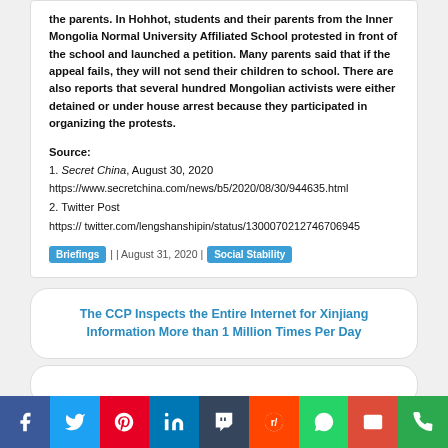the parents. In Hohhot, students and their parents from the Inner Mongolia Normal University Affiliated School protested in front of the school and launched a petition. Many parents said that if the appeal fails, they will not send their children to school. There are also reports that several hundred Mongolian activists were either detained or under house arrest because they participated in organizing the protests.
Source:
1. Secret China, August 30, 2020
https://www.secretchina.com/news/b5/2020/08/30/944635.html
2. Twitter Post
https:// twitter.com/lengshanshipin/status/1300070212746706945
Briefings | | August 31, 2020 | Social Stability
The CCP Inspects the Entire Internet for Xinjiang Information More than 1 Million Times Per Day